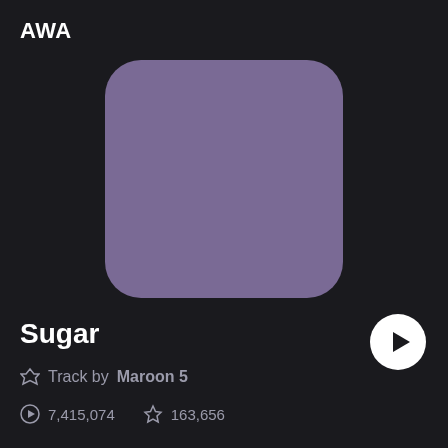AWA
[Figure (illustration): Purple/mauve rounded square album art placeholder on dark background]
Sugar
Track by Maroon 5
7,415,074  163,656